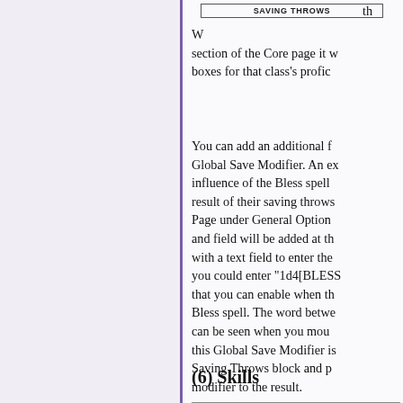[Figure (other): SAVING THROWS label box/button at top of right panel]
th W section of the Core page it w boxes for that class's profic
You can add an additional f Global Save Modifier. An ex influence of the Bless spell result of their saving throws Page under General Option and field will be added at th with a text field to enter the you could enter "1d4[BLESS that you can enable when th Bless spell. The word betwe can be seen when you mou this Global Save Modifier is Saving Throws block and p modifier to the result.
(6) Skills